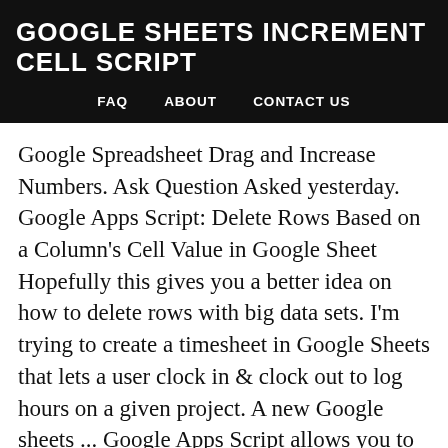GOOGLE SHEETS INCREMENT CELL SCRIPT
FAQ   ABOUT   CONTACT US
Google Spreadsheet Drag and Increase Numbers. Ask Question Asked yesterday. Google Apps Script: Delete Rows Based on a Column's Cell Value in Google Sheet Hopefully this gives you a better idea on how to delete rows with big data sets. I'm trying to create a timesheet in Google Sheets that lets a user clock in & clock out to log hours on a given project. A new Google sheets ... Google Apps Script allows you to customize what Google text docs and Google Sheets can do for you. E3) when a cell in column I (i.e. Waiting on OP.